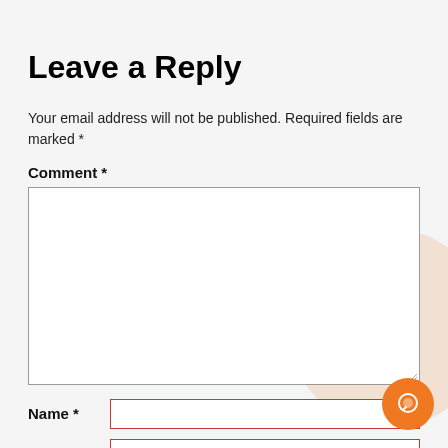Leave a Reply
Your email address will not be published. Required fields are marked *
Comment *
[Figure (other): Large empty comment text area with border and resize handle]
Name *
[Figure (other): Name input field with red border]
Email *
[Figure (other): Email input field with red border]
[Figure (other): Decorative peach circle background element and orange circular chat button with speech bubble icon]